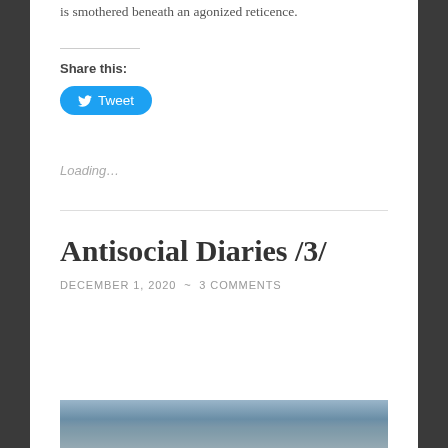is smothered beneath an agonized reticence.
Share this:
[Figure (other): Tweet button with Twitter bird icon]
Loading...
Antisocial Diaries /3/
DECEMBER 1, 2020  ~  3 COMMENTS
[Figure (photo): Featured image — blurred blue-grey sky/water scene]